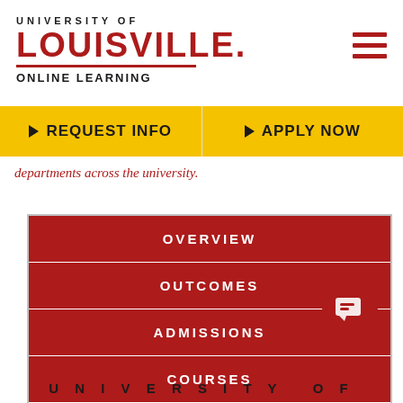[Figure (logo): University of Louisville Online Learning logo with red LOUISVILLE text and red underline]
REQUEST INFO
APPLY NOW
departments across the university.
OVERVIEW
OUTCOMES
ADMISSIONS
COURSES
TEAM
UNIVERSITY OF